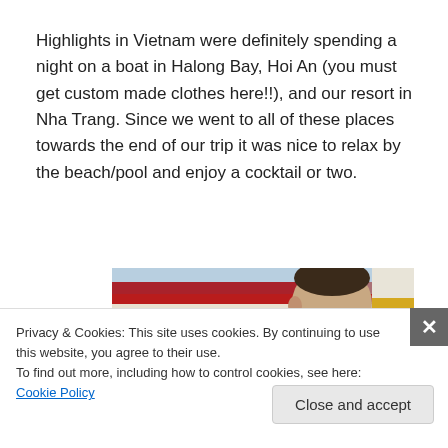Highlights in Vietnam were definitely spending a night on a boat in Halong Bay, Hoi An (you must get custom made clothes here!!), and our resort in Nha Trang. Since we went to all of these places towards the end of our trip it was nice to relax by the beach/pool and enjoy a cocktail or two.
[Figure (photo): Partial photo showing colorful fabric/clothes stacked and a person's head, taken inside what appears to be a clothing shop in Vietnam.]
Privacy & Cookies: This site uses cookies. By continuing to use this website, you agree to their use.
To find out more, including how to control cookies, see here: Cookie Policy
Close and accept